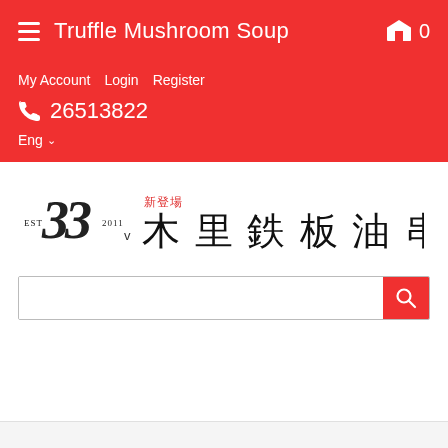Truffle Mushroom Soup
My Account   Login   Register
26513822
Eng
[Figure (logo): Restaurant logo showing EST 33 2011 with Japanese/Chinese characters and red text 新登場]
[Figure (screenshot): Search bar with red search button]